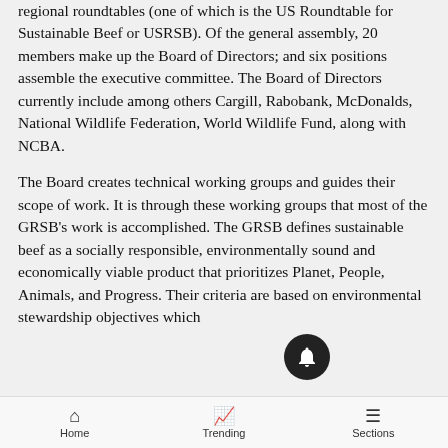regional roundtables (one of which is the US Roundtable for Sustainable Beef or USRSB). Of the general assembly, 20 members make up the Board of Directors; and six positions assemble the executive committee. The Board of Directors currently include among others Cargill, Rabobank, McDonalds, National Wildlife Federation, World Wildlife Fund, along with NCBA.
The Board creates technical working groups and guides their scope of work. It is through these working groups that most of the GRSB's work is accomplished. The GRSB defines sustainable beef as a socially responsible, environmentally sound and economically viable product that prioritizes Planet, People, Animals, and Progress. Their criteria are based on environmental stewardship objectives which
Home   Trending   Sections